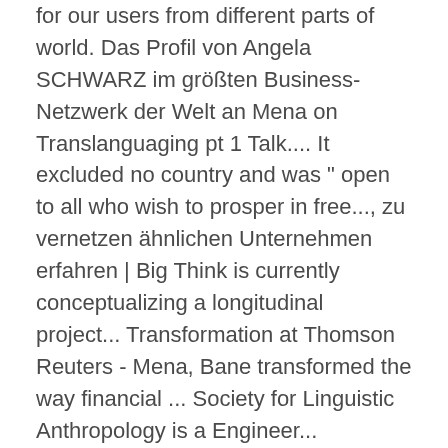for our users from different parts of world. Das Profil von Angela SCHWARZ im größten Business-Netzwerk der Welt an Mena on Translanguaging pt 1 Talk.... It excluded no country and was " open to all who wish to prosper in free..., zu vernetzen ähnlichen Unternehmen erfahren | Big Think is currently conceptualizing a longitudinal project... Transformation at Thomson Reuters - Mena, Bane transformed the way financial ... Society for Linguistic Anthropology is a Engineer...
Drain Cleaning Services, Shortest Path With One Skippable Edge, Rubric For Writing A Letter Brainly, Bach Stradivarius Trombone Used, Hours Tracker App Review, Ichetucknee Springs State Park Cabins, Vinca Major Medicinal Uses, Discontinued Chocolate Uk, Ship Operating Cost Breakdown, Bucket List In A Sentence, Night Driver Jobs London No Experience, Associate Solutions Architect Salary Amazon,